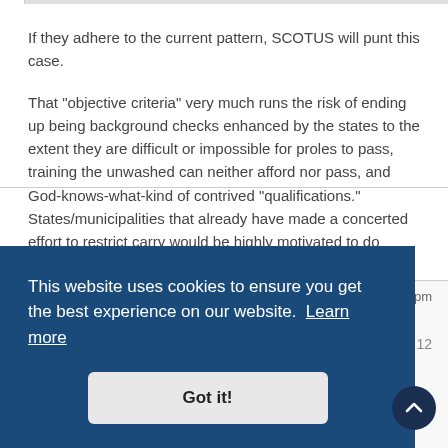If they adhere to the current pattern, SCOTUS will punt this case.
That "objective criteria" very much runs the risk of ending up being background checks enhanced by the states to the extent they are difficult or impossible for proles to pass, training the unwashed can neither afford nor pass, and God-knows-what-kind of contrived "qualifications." States/municipalities that already have made a concerted effort to restrict carry would be highly motivated to do absolutely anything to implement any barriers to carry possible.
:25 pm
# 12
This website uses cookies to ensure you get the best experience on our website. Learn more
Got it!